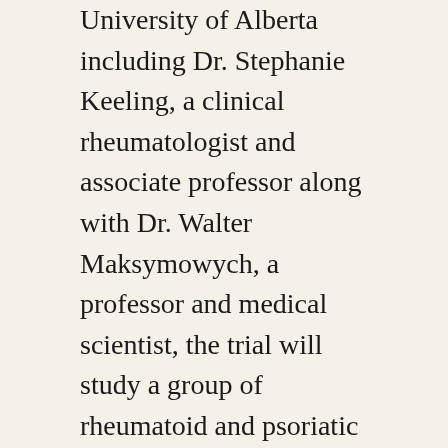University of Alberta including Dr. Stephanie Keeling, a clinical rheumatologist and associate professor along with Dr. Walter Maksymowych, a professor and medical scientist, the trial will study a group of rheumatoid and psoriatic arthritis patients in northern Alberta who are on biologic therapies and participate in the RAPPORT (Rheumatoid Arthritis Pharmacovigilance) Registry. These special biologic disease modifying anti-rheumatic drugs (bDMARDs) have been